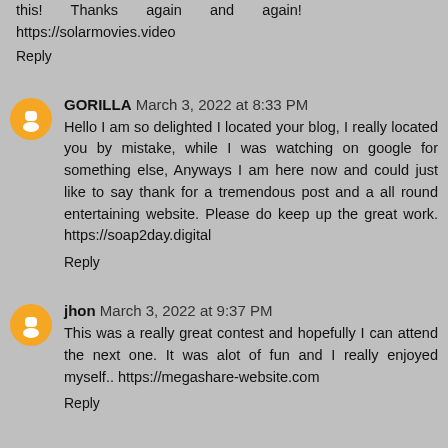this! Thanks again and again! https://solarmovies.video
Reply
GORILLA March 3, 2022 at 8:33 PM
Hello I am so delighted I located your blog, I really located you by mistake, while I was watching on google for something else, Anyways I am here now and could just like to say thank for a tremendous post and a all round entertaining website. Please do keep up the great work. https://soap2day.digital
Reply
jhon March 3, 2022 at 9:37 PM
This was a really great contest and hopefully I can attend the next one. It was alot of fun and I really enjoyed myself.. https://megashare-website.com
Reply